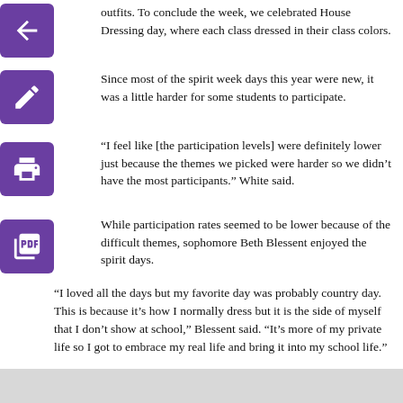outfits. To conclude the week, we celebrated House Dressing day, where each class dressed in their class colors.
Since most of the spirit week days this year were new, it was a little harder for some students to participate.
“I feel like [the participation levels] were definitely lower just because the themes we picked were harder so we didn’t have the most participants.” White said.
While participation rates seemed to be lower because of the difficult themes, sophomore Beth Blessent enjoyed the spirit days.
“I loved all the days but my favorite day was probably country day. This is because it’s how I normally dress but it is the side of myself that I don’t show at school,” Blessent said. “It’s more of my private life so I got to embrace my real life and bring it into my school life.”